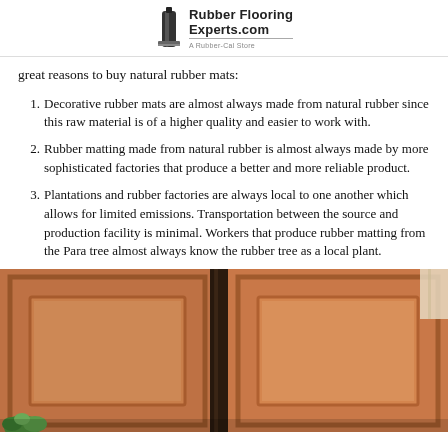RubberFlooringExperts.com — A Rubber-Cal Store
great reasons to buy natural rubber mats:
Decorative rubber mats are almost always made from natural rubber since this raw material is of a higher quality and easier to work with.
Rubber matting made from natural rubber is almost always made by more sophisticated factories that produce a better and more reliable product.
Plantations and rubber factories are always local to one another which allows for limited emissions. Transportation between the source and production facility is minimal. Workers that produce rubber matting from the Para tree almost always know the rubber tree as a local plant.
[Figure (photo): Photo of wooden cabinet doors with raised panels in warm brown/orange tone, with a dark vertical divider and partial view of a window. A small green plant is visible at bottom left.]